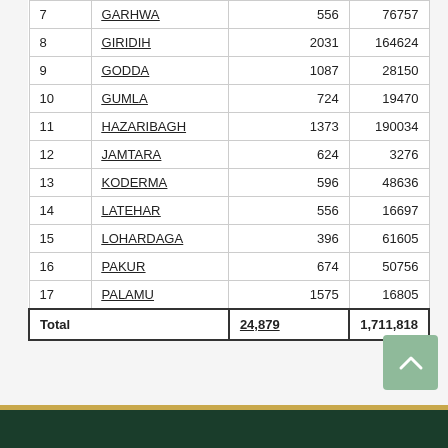|  | District | Col3 | Col4 |
| --- | --- | --- | --- |
| 7 | GARHWA | 556 | 76757 |
| 8 | GIRIDIH | 2031 | 164624 |
| 9 | GODDA | 1087 | 28150 |
| 10 | GUMLA | 724 | 19470 |
| 11 | HAZARIBAGH | 1373 | 190034 |
| 12 | JAMTARA | 624 | 3276 |
| 13 | KODERMA | 596 | 48636 |
| 14 | LATEHAR | 556 | 16697 |
| 15 | LOHARDAGA | 396 | 61605 |
| 16 | PAKUR | 674 | 50756 |
| 17 | PALAMU | 1575 | 16805 |
| Total |  | 24,879 | 1,711,818 | 20,557,9... |